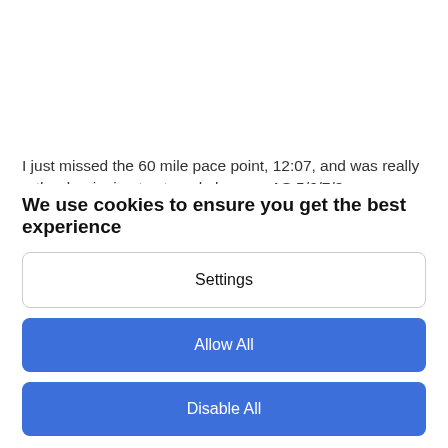I just missed the 60 mile pace point, 12:07, and was really rather beginning to struggle by now, AS 5/6/7/8 were basically at miles 60/70/80/90 so was an easy mental leap to just go AS to AS but 40 miles is still an awful long way when you're done in a bit. So off I plodded… the Tetons were a lovely sight as the lights went out, all shades of pastels blues and pinks and things, and the lights went out.
We use cookies to ensure you get the best experience
Settings
Allow All
Disable All